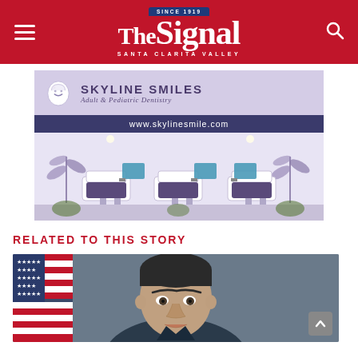The Signal — Santa Clarita Valley (since 1919)
[Figure (photo): Skyline Smiles advertisement banner showing dental office name, tagline 'Adult & Pediatric Dentistry', website www.skylinesmile.com, and interior photo of dental office with chairs and equipment]
RELATED TO THIS STORY
[Figure (photo): Photograph of a man with dark hair in front of an American flag background]